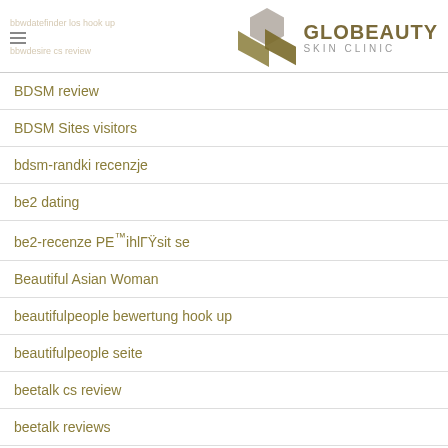GLOBEAUTY SKIN CLINIC
BDSM review
BDSM Sites visitors
bdsm-randki recenzje
be2 dating
be2-recenze PE™ihlГŸsit se
Beautiful Asian Woman
beautifulpeople bewertung hook up
beautifulpeople seite
beetalk cs review
beetalk reviews
Belfast+United Kingdom my review here